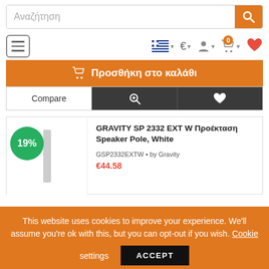[Figure (screenshot): E-commerce website screenshot showing search bar, navigation icons, add-to-cart button, product action row, product listing for GRAVITY SP 2332 EXT W speaker pole, and cookie consent banner]
Αναζήτηση
Προσθήκη στο καλάθι
Compare
19%
GRAVITY SP 2332  EXT W Προέκταση Speaker  Pole, White
GSP2332EXTW • by Gravity
This website uses cookies to improve your experience. We'll assume you're ok with this, but you can opt-out if you wish. Cookie settings ACCEPT